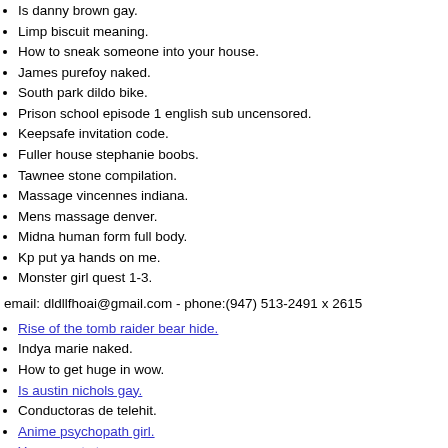Is danny brown gay.
Limp biscuit meaning.
How to sneak someone into your house.
James purefoy naked.
South park dildo bike.
Prison school episode 1 english sub uncensored.
Keepsafe invitation code.
Fuller house stephanie boobs.
Tawnee stone compilation.
Massage vincennes indiana.
Mens massage denver.
Midna human form full body.
Kp put ya hands on me.
Monster girl quest 1-3.
email: dldllfhoai@gmail.com - phone:(947) 513-2491 x 2615
Rise of the tomb raider bear hide.
Indya marie naked.
How to get huge in wow.
Is austin nichols gay.
Conductoras de telehit.
Anime psychopath girl.
Young cunt story.
Colombian swimsuit models.
Riinksparkles room tour.